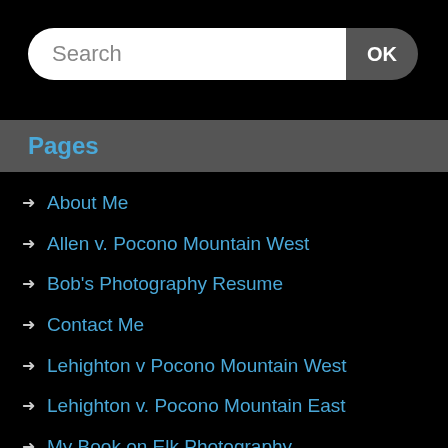[Figure (screenshot): Search bar with white input field labeled 'Search' and a dark rounded OK button on the right]
Pages
About Me
Allen v. Pocono Mountain West
Bob's Photography Resume
Contact Me
Lehighton v Pocono Mountain West
Lehighton v. Pocono Mountain East
My Book on Elk Photography
My Websites